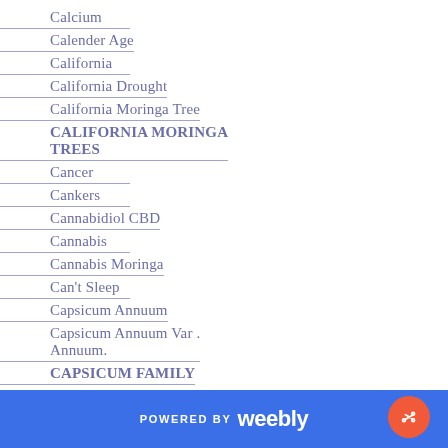Calcium
Calender Age
California
California Drought
California Moringa Tree
CALIFORNIA MORINGA TREES
Cancer
Cankers
Cannabidiol CBD
Cannabis
Cannabis Moringa
Can't Sleep
Capsicum Annuum
Capsicum Annuum Var . Annuum.
CAPSICUM FAMILY
POWERED BY weebly